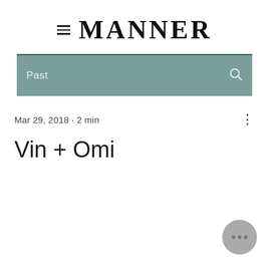MANNER
[Figure (screenshot): Search bar with sage/muted teal background, text 'Past' on left and search icon on right]
Mar 29, 2018 · 2 min
Vin + Omi